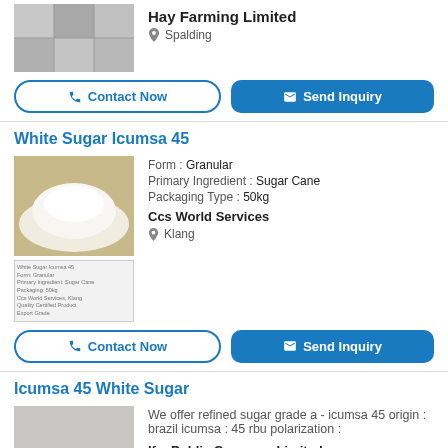[Figure (photo): Partial image of Hay Farming Limited product (top of page)]
Hay Farming Limited
Spalding
Contact Now  Send Inquiry
White Sugar Icumsa 45
[Figure (photo): White sugar pile and product label image for White Sugar Icumsa 45]
Form : Granular
Primary Ingredient : Sugar Cane
Packaging Type : 50kg
Ccs World Services
Klang
Contact Now  Send Inquiry
Icumsa 45 White Sugar
[Figure (photo): Bowl of sugar with sugar cubes photo]
We offer refined sugar grade a - icumsa 45 origin : brazil icumsa : 45 rbu polarization :
Ifm Public Company Limited
Chiang Mai